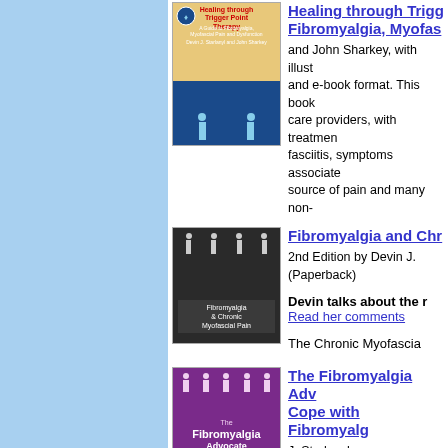[Figure (illustration): Book cover for Healing through Trigger Point Therapy, a guide to fibromyalgia, myofascial pain and dysfunction by Devin J. Starlanyl and John Sharkey. Cover shows human body figures on a blue background with tan upper section.]
Healing through Trigger Point Fibromyalgia, Myofas and John Sharkey, with illust and e-book format. This book care providers, with treatmen fasciitis, symptoms associate source of pain and many non-
[Figure (illustration): Book cover for Fibromyalgia and Chronic Myofascial Pain, 2nd edition. Dark background with human figure outlines.]
Fibromyalgia and Chr 2nd Edition by Devin J. (Paperback)
Devin talks about the r Read her comments
The Chronic Myofascia
[Figure (illustration): Book cover for The Fibromyalgia Advocate - Getting the Support You Need to Cope with Fibromyalgia and Myofascial Pain Syndrome, by Devin J. Starlanyl. Purple cover with human figure icons.]
The Fibromyalgia Adv Cope with Fibromyalg J. Starlanyl